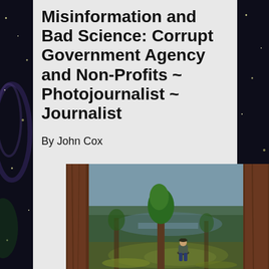Misinformation and Bad Science: Corrupt Government Agency and Non-Profits ~ Photojournalist ~ Journalist
By John Cox
[Figure (photo): Outdoor nature photograph showing a person sitting on a mossy rock outcrop between two large pine trees, with a valley, river, and forested mountains visible in the background under an overcast sky.]